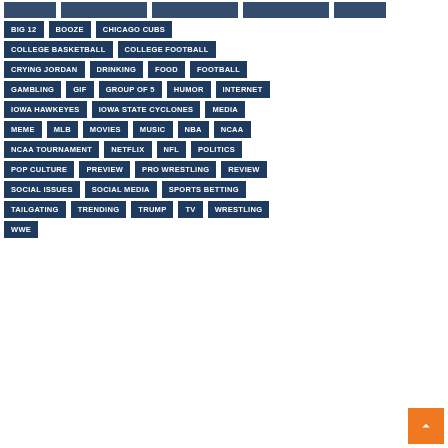BIG 12
BOOZE
CHICAGO CUBS
COLLEGE BASKETBALL
COLLEGE FOOTBALL
CRYING JORDAN
DRINKING
FOOD
FOOTBALL
GAMBLING
GIF
GROUP OF 5
HUMOR
INTERNET
IOWA HAWKEYES
IOWA STATE CYCLONES
MEDIA
MEME
MLB
MOVIES
MUSIC
NBA
NCAA
NCAA TOURNAMENT
NETFLIX
NFL
POLITICS
POP CULTURE
PREVIEW
PRO WRESTLING
REVIEW
SOCIAL ISSUES
SOCIAL MEDIA
SPORTS BETTING
TAILGATING
TRENDING
TRUMP
TV
WRESTLING
WWE